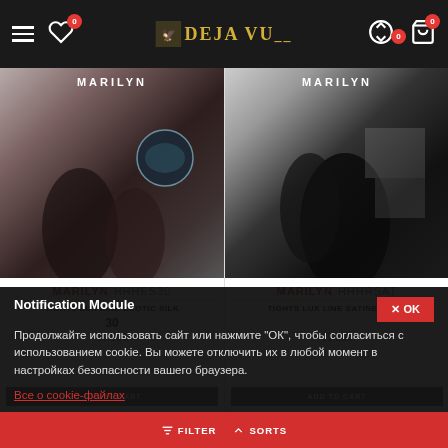DEJA VU online store header with navigation icons
[Figure (photo): Product photo - MARILYN HHHES30 hosiery product on model legs]
[Figure (photo): Product photo - MARILYN HHHRSAT hosiery product on model legs in dark tones]
MARILYN  HHHES30
MARILYN  HHHRSAT
TIGHTS LUX LINE EROTIC SILK
TIGHTS LUX LINE SATINELLE 80
30
21.10€
ADD TO CART
ADD TO CART
Notification Module
Продолжайте использовать сайт или нажмите "ОК", чтобы согласиться с использованием cookie. Вы можете отключить их в любой момент в настройках безопасности вашего браузера.
Все о cookie-файлах
FILTER  SORTS